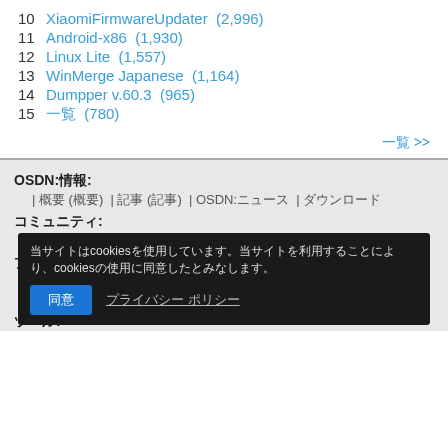10  XiaomiFirmwareUpdater  (2,996)
11  Android-x86  (1,930)
12  Linux Lite  (1,557)
13  WinMerge Japanese  (1,164)
14  Dumpper v.60.3  (965)
15  一覧  (780)
一覧 >>
OSDN:情報:
| 概要 (概要) | 記事 (記事) | OSDN:ニュース | ダウンロード
コミュニティ:
| 掲示板 | レビューを書く | 報告書 | ブックマーク
プロジェクト:
| Create Project/Chamber | プロジェクト | Recently Registered Project Chambers Map | チャンバーマップ
ツール:
当サイトはcookiesを使用しています。当サイトを利用することにより、cookiesの使用に同意したとみなします。
同意  プライバシー ポリシー